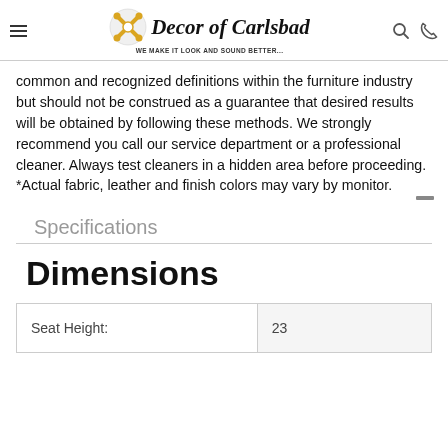Decor of Carlsbad — WE MAKE IT LOOK AND SOUND BETTER...
common and recognized definitions within the furniture industry but should not be construed as a guarantee that desired results will be obtained by following these methods. We strongly recommend you call our service department or a professional cleaner. Always test cleaners in a hidden area before proceeding.
*Actual fabric, leather and finish colors may vary by monitor.
Specifications
Dimensions
| Seat Height: | 23 |
| --- | --- |